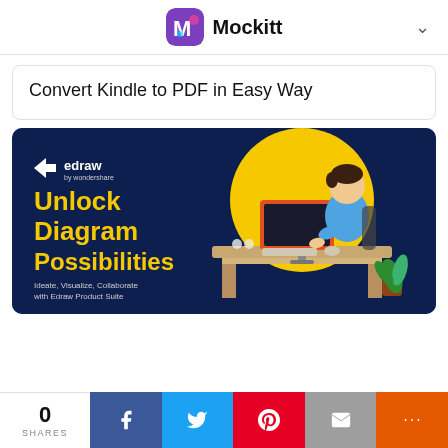Mockitt
Convert Kindle to PDF in Easy Way
[Figure (illustration): Edraw by Wondershare promotional banner with dark navy background. Features the Edraw logo, large yellow bold text reading 'Unlock Diagram Possibilities', a 3D illustration of a person sitting at a desk with a computer, a yellow circle background element, and green plant. Subtitle reads 'Ideate, Visualize, Collaborate with Edraw Product Suite'.]
0 SHARES
[Figure (infographic): Social share bar with Facebook, Twitter, Pinterest, Email, and More (+) buttons.]